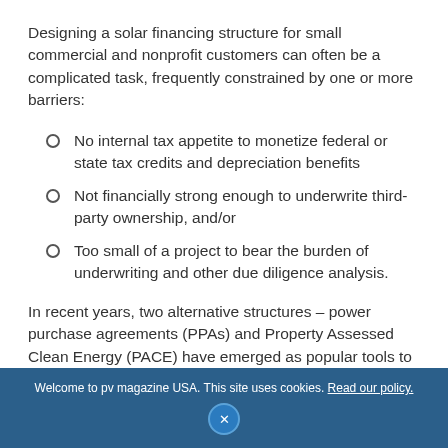Designing a solar financing structure for small commercial and nonprofit customers can often be a complicated task, frequently constrained by one or more barriers:
No internal tax appetite to monetize federal or state tax credits and depreciation benefits
Not financially strong enough to underwrite third-party ownership, and/or
Too small of a project to bear the burden of underwriting and other due diligence analysis.
In recent years, two alternative structures – power purchase agreements (PPAs) and Property Assessed Clean Energy (PACE) have emerged as popular tools to
Welcome to pv magazine USA. This site uses cookies. Read our policy.